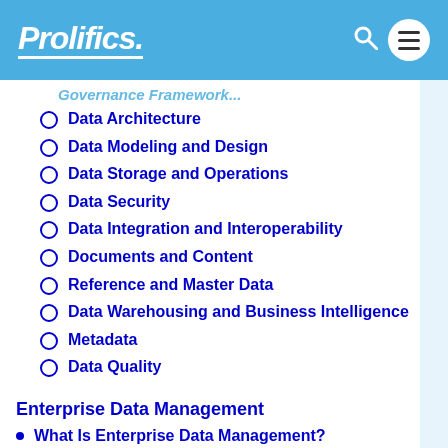Prolifics
Governance Framework (partial, truncated at top)
Data Architecture
Data Modeling and Design
Data Storage and Operations
Data Security
Data Integration and Interoperability
Documents and Content
Reference and Master Data
Data Warehousing and Business Intelligence
Metadata
Data Quality
Enterprise Data Management
What Is Enterprise Data Management?
The Benefits of Enterprise Data (truncated)